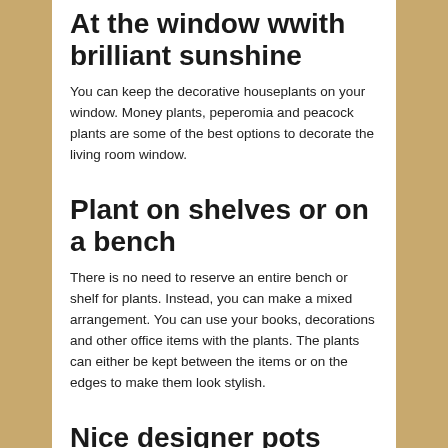At the window wwith brilliant sunshine
You can keep the decorative houseplants on your window. Money plants, peperomia and peacock plants are some of the best options to decorate the living room window.
Plant on shelves or on a bench
There is no need to reserve an entire bench or shelf for plants. Instead, you can make a mixed arrangement. You can use your books, decorations and other office items with the plants. The plants can either be kept between the items or on the edges to make them look stylish.
Nice designer pots